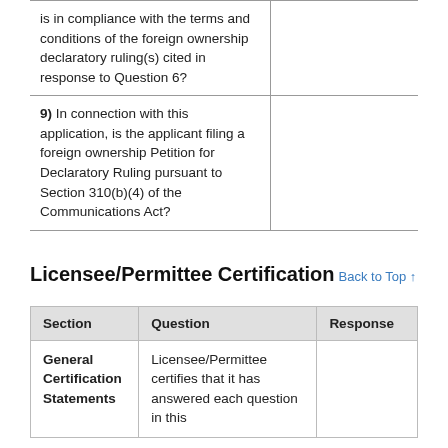|  | Response |
| --- | --- |
| is in compliance with the terms and conditions of the foreign ownership declaratory ruling(s) cited in response to Question 6? |  |
| 9) In connection with this application, is the applicant filing a foreign ownership Petition for Declaratory Ruling pursuant to Section 310(b)(4) of the Communications Act? |  |
Licensee/Permittee Certification
| Section | Question | Response |
| --- | --- | --- |
| General Certification Statements | Licensee/Permittee certifies that it has answered each question in this |  |